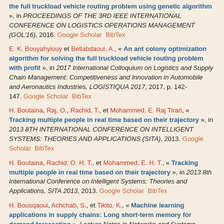the full truckload vehicle routing problem using genetic algorithm », in PROCEEDINGS OF THE 3RD IEEE INTERNATIONAL CONFERENCE ON LOGISTICS OPERATIONS MANAGEMENT (GOL'16), 2016. Google Scholar BibTex
E. K. Bouyahyiouy et Bellabdaoui, A., « An ant colony optimization algorithm for solving the full truckload vehicle routing problem with profit », in 2017 International Colloquium on Logistics and Supply Chain Management: Competitiveness and Innovation in Automobile and Aeronautics Industries, LOGISTIQUA 2017, 2017, p. 142-147. Google Scholar BibTex
H. Boutaina, Raj, O., Rachid, T., et Mohammed, E. Raj Tirari, « Tracking multiple people in real time based on their trajectory », in 2013 8TH INTERNATIONAL CONFERENCE ON INTELLIGENT SYSTEMS: THEORIES AND APPLICATIONS (SITA), 2013. Google Scholar BibTex
H. Boutaina, Rachid, O. H. T., et Mohammed, E. H. T., « Tracking multiple people in real time based on their trajectory », in 2013 8th International Conference on Intelligent Systems: Theories and Applications, SITA 2013, 2013. Google Scholar BibTex
H. Bousqaoui, Achchab, S., et Tikito, K., « Machine learning applications in supply chains: Long short-term memory for demand forecasting », Lecture Notes in Networks and Systems